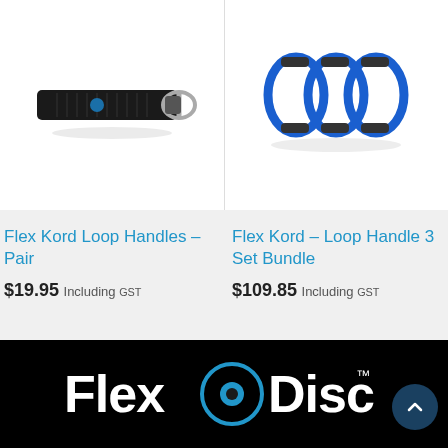[Figure (photo): Black fabric strap / loop handle with metal D-ring, product photo on white background]
[Figure (photo): Blue elastic loop handles / bungee cords set with black end caps, product photo on white background]
Flex Kord Loop Handles – Pair
$19.95 Including GST
Flex Kord – Loop Handle 3 Set Bundle
$109.85 Including GST
[Figure (logo): Flex Disc logo — white text 'Flex' and 'Disc' with a blue circular disc icon, on black background. TM superscript.]